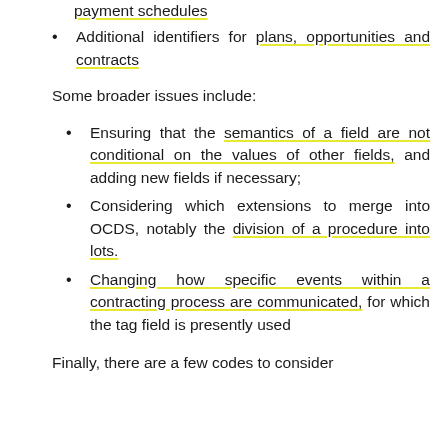payment schedules
Additional identifiers for plans, opportunities and contracts
Some broader issues include:
Ensuring that the semantics of a field are not conditional on the values of other fields, and adding new fields if necessary;
Considering which extensions to merge into OCDS, notably the division of a procedure into lots.
Changing how specific events within a contracting process are communicated, for which the tag field is presently used
Finally, there are a few codes to consider